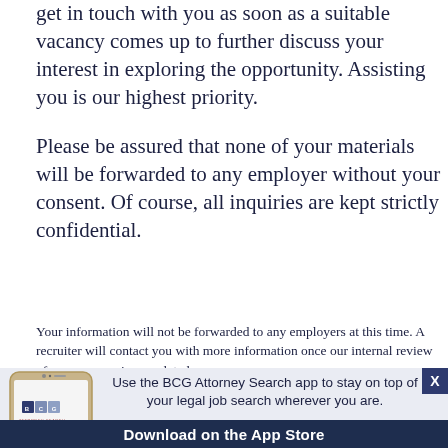get in touch with you as soon as a suitable vacancy comes up to further discuss your interest in exploring the opportunity. Assisting you is our highest priority.
Please be assured that none of your materials will be forwarded to any employer without your consent. Of course, all inquiries are kept strictly confidential.
Your information will not be forwarded to any employers at this time. A recruiter will contact you with more information once our internal review of your resume is completed.
[Figure (screenshot): BCG Attorney Search mobile app advertisement banner showing a smartphone with BCG Attorney Search logo, text 'Use the BCG Attorney Search app to stay on top of your legal job search wherever you are.' and a 'Download on the App Store' button bar]